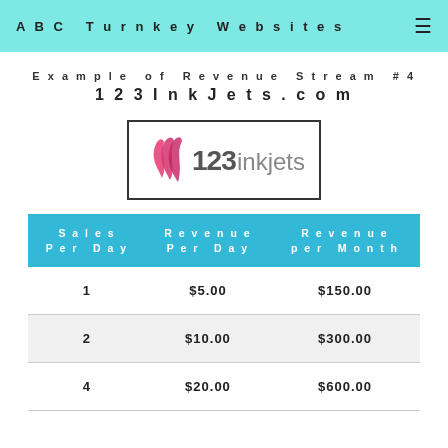ABC Turnkey Websites
Example of Revenue Stream #4
123InkJets.com
[Figure (logo): 123inkjets logo with pink flame/wave icon on the left and '123inkjets' text in grey, inside a rectangular border]
| Sales Per Day | Revenue Per Day | Revenue per Month |
| --- | --- | --- |
| 1 | $5.00 | $150.00 |
| 2 | $10.00 | $300.00 |
| 4 | $20.00 | $600.00 |